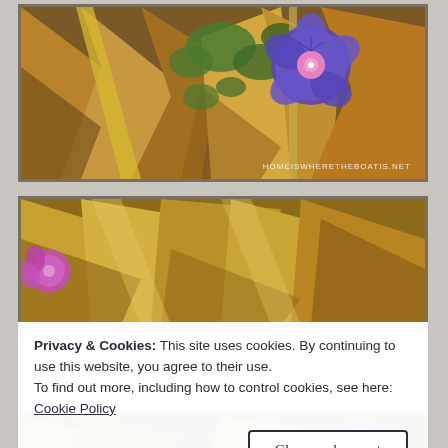[Figure (photo): Close-up photo of dried corn stalks and husks with green vine leaves and a vibrant blue/purple morning glory flower in bloom. Watermark reads: HOMEISWHERETHEBOATIS.NET]
[Figure (photo): Close-up photo of dried golden-brown corn husks and stalks with a pink/purple flower visible on the left edge.]
Privacy & Cookies: This site uses cookies. By continuing to use this website, you agree to their use.
To find out more, including how to control cookies, see here:
Cookie Policy
Close and accept
[Figure (photo): Partial view of another photo showing dried plant material with a blue/purple flower, bottom of page.]